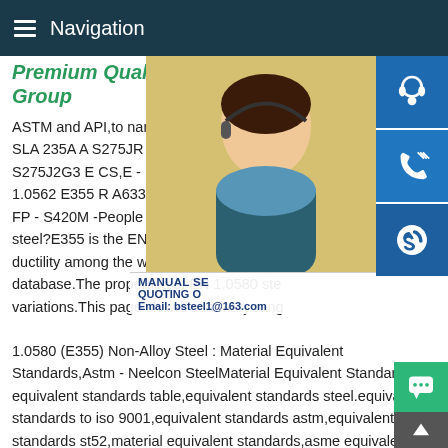Navigation
Premium Quality Steel Plate Group
ASTM and API,to name a few.Shipbuilding SLA 235A A S275JR B B B SLA 235B B S S275J2G3 E CS,E - E S275 Imp@-40 S35 1.0562 E355 R A633 C S355ML 50EE TS FP - S420M -People also askWhat is E355 steel?E355 is the EN chemical designation ductility among the wrought carbon or non database.The properties of EN 1.0580 ste variations.This page shows summary rang 1.0580 (E355) Non-Alloy Steel : Material Equivalent Standards,Astm - Neelcon SteelMaterial Equivalent Standards equivalent standards table,equivalent standards steel.equivalent standards to iso 9001,equivalent standards astm,equivalent standards st52,material equivalent standards,asme equivalent
[Figure (photo): Customer service woman with headset]
MANUAL SERVICE QUOTING O Email: bsteel1@163.com